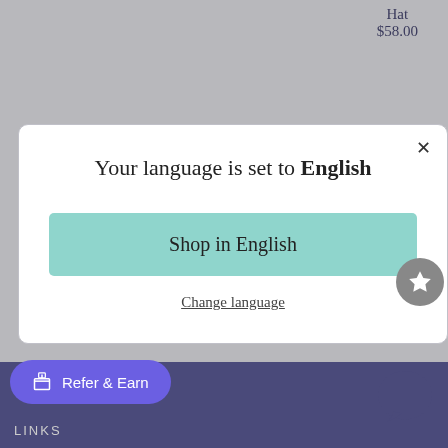Hat
$58.00
[Figure (screenshot): Language selection modal dialog on an e-commerce website with teal 'Shop in English' button and 'Change language' link]
Your language is set to English
Shop in English
Change language
Refer & Earn
LINKS